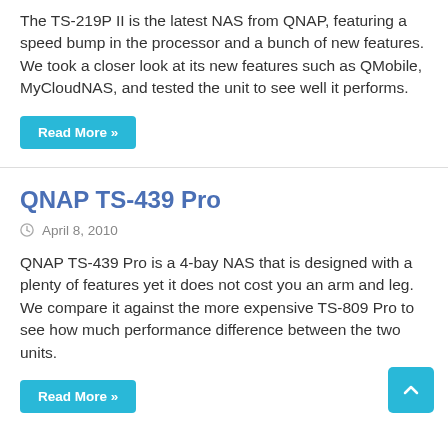The TS-219P II is the latest NAS from QNAP, featuring a speed bump in the processor and a bunch of new features. We took a closer look at its new features such as QMobile, MyCloudNAS, and tested the unit to see well it performs.
Read More »
QNAP TS-439 Pro
April 8, 2010
QNAP TS-439 Pro is a 4-bay NAS that is designed with a plenty of features yet it does not cost you an arm and leg. We compare it against the more expensive TS-809 Pro to see how much performance difference between the two units.
Read More »